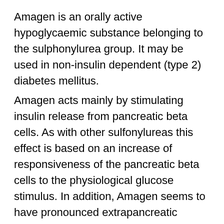Amagen is an orally active hypoglycaemic substance belonging to the sulphonylurea group. It may be used in non-insulin dependent (type 2) diabetes mellitus.
Amagen acts mainly by stimulating insulin release from pancreatic beta cells. As with other sulfonylureas this effect is based on an increase of responsiveness of the pancreatic beta cells to the physiological glucose stimulus. In addition, Amagen seems to have pronounced extrapancreatic effects also postulated for other sulfonylureas.
Insulin release:
Sulfonylureas regulate insulin secretion by closing the ATP-sensitive potassium channel in the beta cell membrane. Closing the potassium channel induces depolarisation of the beta cell and results